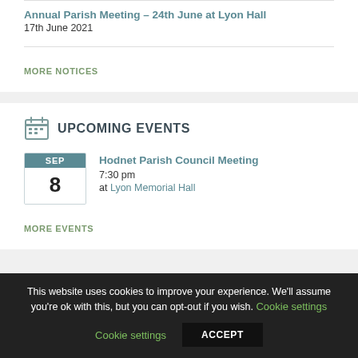Annual Parish Meeting – 24th June at Lyon Hall
17th June 2021
MORE NOTICES
UPCOMING EVENTS
Hodnet Parish Council Meeting
7:30 pm
at Lyon Memorial Hall
MORE EVENTS
This website uses cookies to improve your experience. We'll assume you're ok with this, but you can opt-out if you wish. Cookie settings ACCEPT